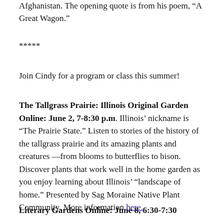Afghanistan. The opening quote is from his poem, “A Great Wagon.”
*****
Join Cindy for a program or class this summer!
The Tallgrass Prairie: Illinois Original Garden Online: June 2, 7-8:30 p.m. Illinois’ nickname is “The Prairie State.” Listen to stories of the history of the tallgrass prairie and its amazing plants and creatures —from blooms to butterflies to bison. Discover plants that work well in the home garden as you enjoy learning about Illinois’ “landscape of home.” Presented by Sag Moraine Native Plant Community. More information here.
Literary Gardens Online: June 8, 6:30-7:30